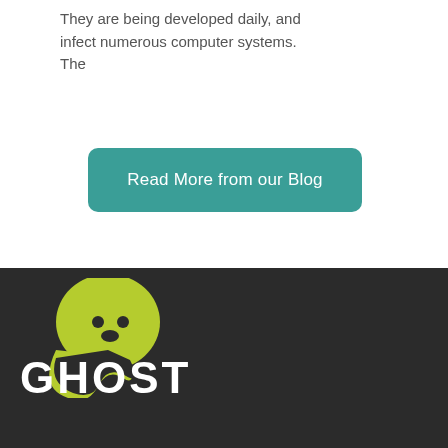They are being developed daily, and infect numerous computer systems. The
Read More from our Blog
[Figure (logo): Ghost blogging platform logo: a yellow-green ghost figure above the word GHOST in large white bold text on a dark background]